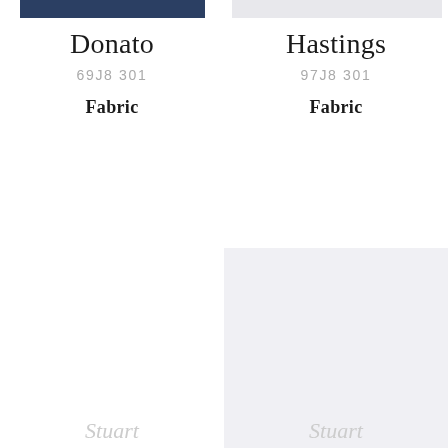[Figure (illustration): Dark navy blue color swatch bar for Donato fabric]
Donato
69J8 301
Fabric
[Figure (illustration): Light gray color swatch bar for Hastings fabric]
Hastings
97J8 301
Fabric
[Figure (photo): White fabric swatch sample for Donato]
[Figure (photo): Light gray fabric swatch sample for Hastings]
Stuart
Stuart